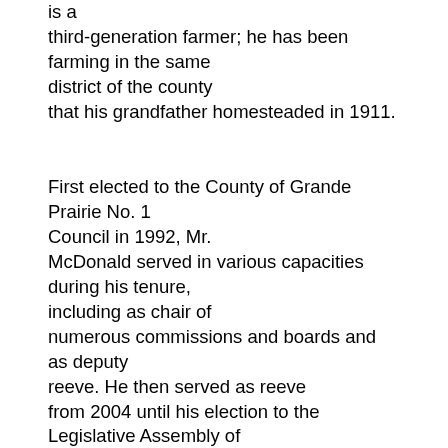is a third-generation farmer; he has been farming in the same district of the county that his grandfather homesteaded in 1911.

First elected to the County of Grande Prairie No. 1 Council in 1992, Mr. McDonald served in various capacities during his tenure, including as chair of numerous commissions and boards and as deputy reeve. He then served as reeve from 2004 until his election to the Legislative Assembly of Alberta. Mr. McDonald was the chairman of the Crystal Creek Conservation Society and also represented the county on various provincial committees, including the Alberta Growth Summit and the provincial Mountain Pine Beetle